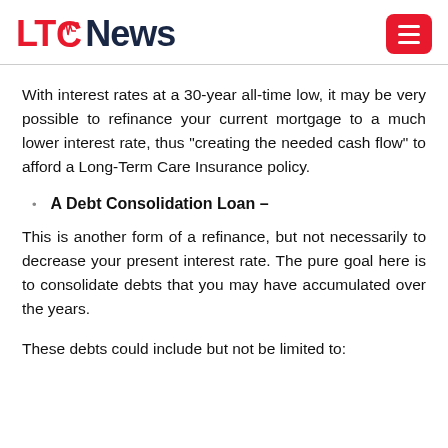LTC News
With interest rates at a 30-year all-time low, it may be very possible to refinance your current mortgage to a much lower interest rate, thus "creating the needed cash flow" to afford a Long-Term Care Insurance policy.
A Debt Consolidation Loan –
This is another form of a refinance, but not necessarily to decrease your present interest rate. The pure goal here is to consolidate debts that you may have accumulated over the years.
These debts could include but not be limited to: